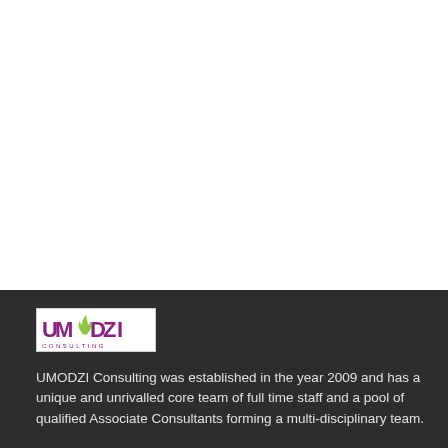[Figure (logo): UMODZI Consulting logo — the word UMODZI in large purple bold letters with a green flame/leaf icon replacing the O, and the word CONSULTING in smaller spaced letters below, all within a light border rectangle]
UMODZI Consulting was established in the year 2009 and has a unique and unrivalled core team of full time staff and a pool of qualified Associate Consultants forming a multi-disciplinary team.